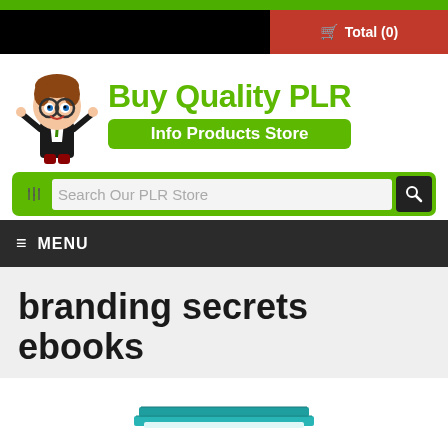Total (0)
[Figure (logo): Buy Quality PLR Info Products Store logo with mascot character (boy with glasses in suit) and green text]
Search Our PLR Store
MENU
branding secrets ebooks
[Figure (illustration): Partial view of a stack of books at the bottom of the page]